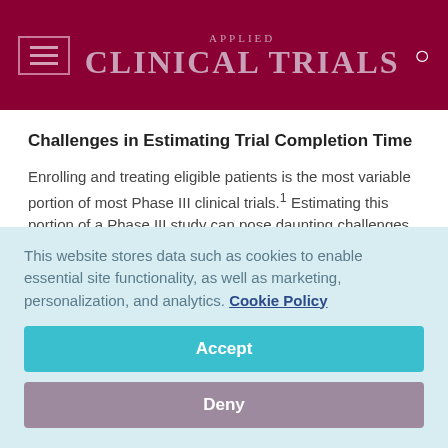Applied Clinical Trials
Challenges in Estimating Trial Completion Time
Enrolling and treating eligible patients is the most variable portion of most Phase III clinical trials.1 Estimating this portion of a Phase III study can pose daunting challenges. Schroen and others assert that the ability of even the most experienced statisticians and clinical trial managers to
This website stores data such as cookies to enable essential site functionality, as well as marketing, personalization, and analytics. Cookie Policy
Accept
Deny